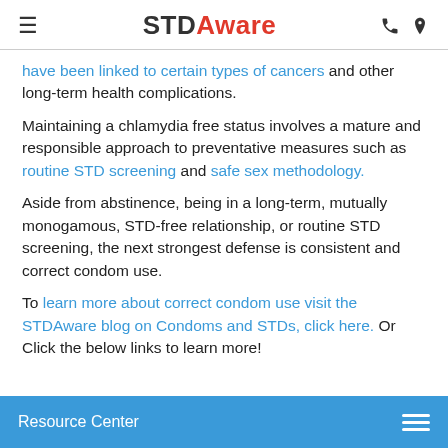STDAware
have been linked to certain types of cancers and other long-term health complications.
Maintaining a chlamydia free status involves a mature and responsible approach to preventative measures such as routine STD screening and safe sex methodology.
Aside from abstinence, being in a long-term, mutually monogamous, STD-free relationship, or routine STD screening, the next strongest defense is consistent and correct condom use.
To learn more about correct condom use visit the STDAware blog on Condoms and STDs, click here. Or Click the below links to learn more!
Resource Center